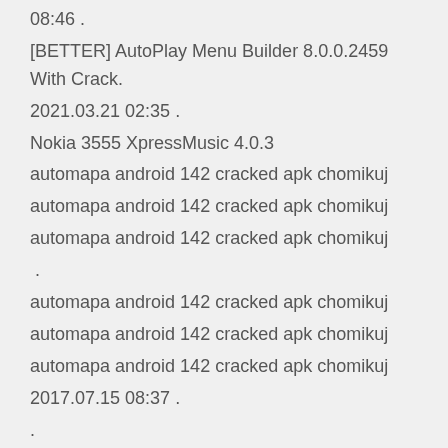08:46 .
[BETTER] AutoPlay Menu Builder 8.0.0.2459 With Crack. 2021.03.21 02:35 .
Nokia 3555 XpressMusic 4.0.3
automapa android 142 cracked apk chomikuj
automapa android 142 cracked apk chomikuj
automapa android 142 cracked apk chomikuj
.
automapa android 142 cracked apk chomikuj
automapa android 142 cracked apk chomikuj
automapa android 142 cracked apk chomikuj
2017.07.15 08:37 .
.
.
automapa android 142 cracked apk chomikuj
automapa android 142 cracked apk chomikuj